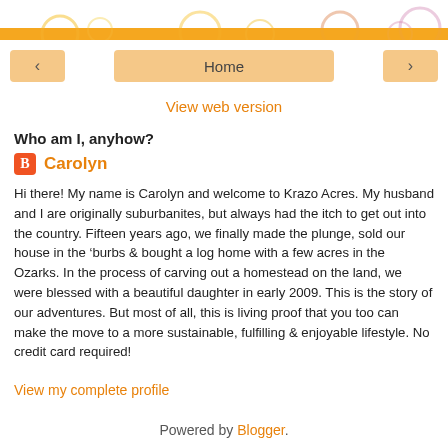[Figure (illustration): Decorative orange/yellow banner with circular floral patterns at the top of the page]
< Home >
View web version
Who am I, anyhow?
Carolyn
Hi there! My name is Carolyn and welcome to Krazo Acres. My husband and I are originally suburbanites, but always had the itch to get out into the country. Fifteen years ago, we finally made the plunge, sold our house in the ‘burbs & bought a log home with a few acres in the Ozarks. In the process of carving out a homestead on the land, we were blessed with a beautiful daughter in early 2009. This is the story of our adventures. But most of all, this is living proof that you too can make the move to a more sustainable, fulfilling & enjoyable lifestyle. No credit card required!
View my complete profile
Powered by Blogger.